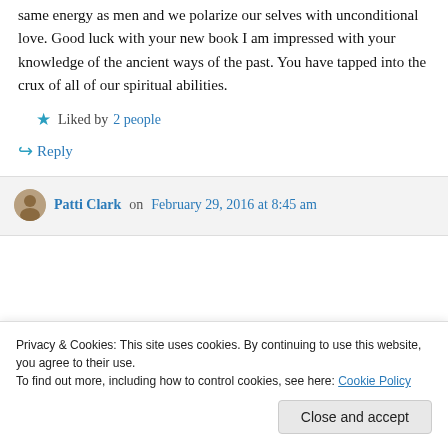same energy as men and we polarize our selves with unconditional love. Good luck with your new book I am impressed with your knowledge of the ancient ways of the past. You have tapped into the crux of all of our spiritual abilities.
★ Liked by 2 people
↵ Reply
Patti Clark on February 29, 2016 at 8:45 am
Privacy & Cookies: This site uses cookies. By continuing to use this website, you agree to their use.
To find out more, including how to control cookies, see here: Cookie Policy